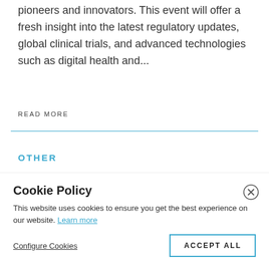pioneers and innovators. This event will offer a fresh insight into the latest regulatory updates, global clinical trials, and advanced technologies such as digital health and...
READ MORE
OTHER
Cookie Policy
This website uses cookies to ensure you get the best experience on our website. Learn more
Configure Cookies
ACCEPT ALL